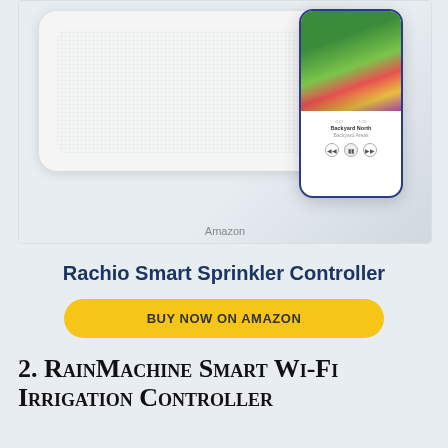[Figure (photo): Product photo of Rachio Smart Sprinkler Controller device (white rectangular unit with textured surface) alongside a smartphone displaying a garden/lawn care app with colorful flower beds on screen, on a light blue-gray background. Amazon watermark visible.]
Amazon
Rachio Smart Sprinkler Controller
BUY NOW ON AMAZON
2. RainMachine Smart Wi-Fi Irrigation Controller